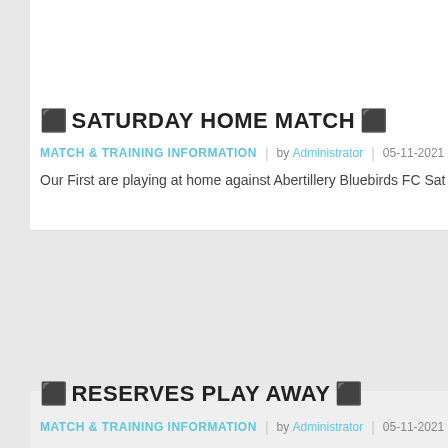⬛ SATURDAY HOME MATCH ⬛
MATCH & TRAINING INFORMATION  |  by Administrator  |  05-11-2021
Our First are playing at home against Abertillery Bluebirds FC Sat...
[Figure (photo): Gray placeholder image block for article]
⬛ RESERVES PLAY AWAY ⬛
MATCH & TRAINING INFORMATION  |  by Administrator  |  05-11-2021